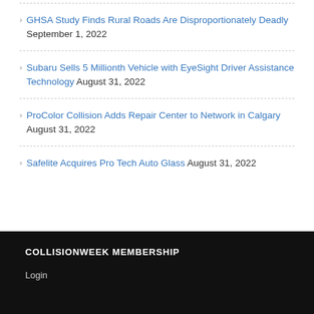GHSA Study Finds Rural Roads Are Disproportionately Deadly September 1, 2022
Subaru Sells 5 Millionth Vehicle with EyeSight Driver Assistance Technology August 31, 2022
ProColor Collision Adds Repair Center to Network in Calgary August 31, 2022
Safelite Acquires Pro Tech Auto Glass August 31, 2022
COLLISIONWEEK MEMBERSHIP
Login